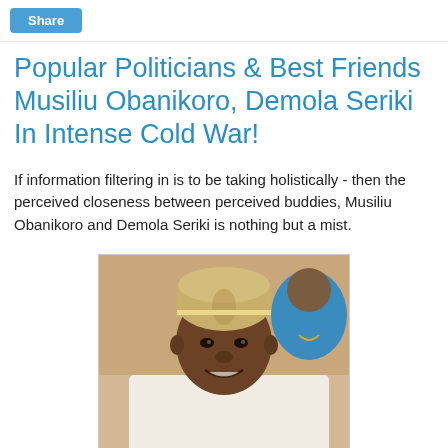Share
Popular Politicians & Best Friends Musiliu Obanikoro, Demola Seriki In Intense Cold War!
If information filtering in is to be taking holistically - then the perceived closeness between perceived buddies, Musiliu Obanikoro and Demola Seriki is nothing but a mist.
[Figure (photo): A man wearing a traditional Nigerian agbada outfit and embroidered cap, smiling, with another person partially visible behind him in a blue outfit.]